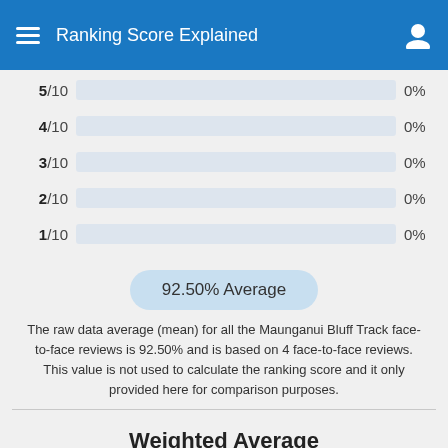Ranking Score Explained
[Figure (bar-chart): Score distribution bars]
92.50% Average
The raw data average (mean) for all the Maunganui Bluff Track face-to-face reviews is 92.50% and is based on 4 face-to-face reviews. This value is not used to calculate the ranking score and it only provided here for comparison purposes.
Weighted Average
92.92%